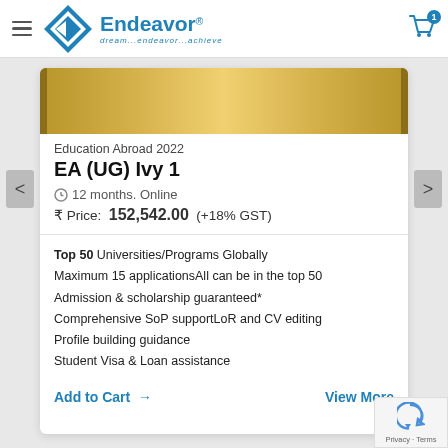[Figure (logo): Endeavor logo with diamond arrow icon and tagline 'dream...endeavor...achieve']
Education Abroad 2022
EA (UG) Ivy 1
12 months. Online
Price: 152,542.00 (+18% GST)
Top 50 Universities/Programs Globally
Maximum 15 applicationsAll can be in the top 50
Admission & scholarship guaranteed*
Comprehensive SoP supportLoR and CV editing
Profile building guidance
Student Visa & Loan assistance
Add to Cart →
View More